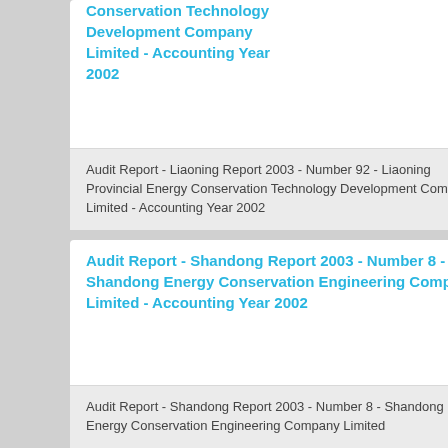Conservation Technology Development Company Limited - Accounting Year 2002
Audit Report - Liaoning Report 2003 - Number 92 - Liaoning Provincial Energy Conservation Technology Development Company Limited - Accounting Year 2002
Audit Report - Shandong Report 2003 - Number 8 - Shandong Energy Conservation Engineering Company Limited - Accounting Year 2002
Audit Report - Shandong Report 2003 - Number 8 - Shandong Energy Conservation Engineering Company Limited